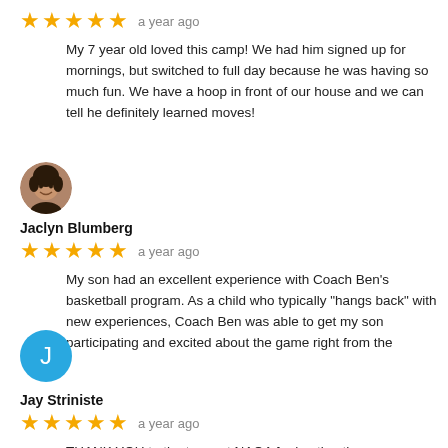★★★★★  a year ago
My 7 year old loved this camp! We had him signed up for mornings, but switched to full day because he was having so much fun. We have a hoop in front of our house and we can tell he definitely learned moves!
[Figure (photo): Circular profile photo of Jaclyn Blumberg, a woman smiling]
Jaclyn Blumberg
★★★★★  a year ago
My son had an excellent experience with Coach Ben's basketball program. As a child who typically "hangs back" with new experiences, Coach Ben was able to get my son participating and excited about the game right from the
[Figure (illustration): Blue circle avatar with letter J for Jay Striniste]
Jay Striniste
★★★★★  a year ago
THANK YOU to the team at NAOA for hosting the